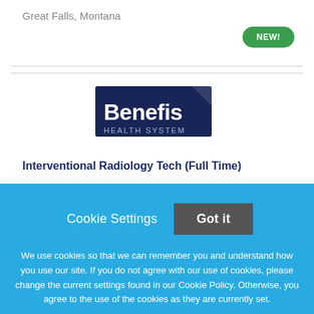Great Falls, Montana
[Figure (logo): Benefis Health System logo — dark navy blue rectangle with 'Benefis' in large white/light text and 'HEALTH SYSTEM' in smaller text below]
Interventional Radiology Tech (Full Time)
Cookie Settings
Got it
We use cookies so that we can remember you and understand how you use our site. If you do not agree with our use of cookies, please change the current settings found in our Cookie Policy. Otherwise, you agree to the use of the cookies as they are currently set.